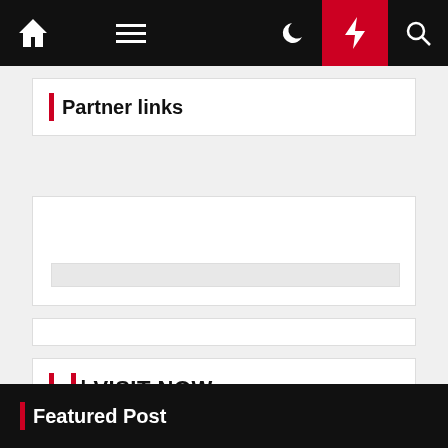Navigation bar with home, menu, moon, bolt, and search icons
| Partner links
[Figure (screenshot): Empty white box with a light gray bar at the bottom]
[Figure (screenshot): Empty white bar]
| | VISIT NOW
House & Home Improvement
| Featured Post